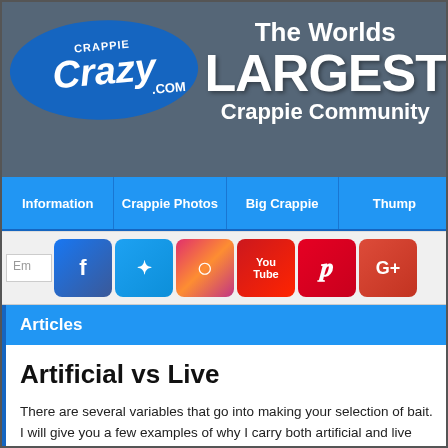[Figure (screenshot): Crappie Crazy website banner with fish and text 'The Worlds LARGEST Crappie Community']
Information | Crappie Photos | Big Crappie | Thump
[Figure (screenshot): Social media icons row: Facebook, Twitter, Instagram, YouTube, Pinterest, Google+]
Articles
Artificial vs Live
There are several variables that go into making your selection of bait. I will give you a few examples of why I carry both artificial and live bait on my boat. The obvious…
Crappie Crazy   March 27, 2015 10:41 am   Articles